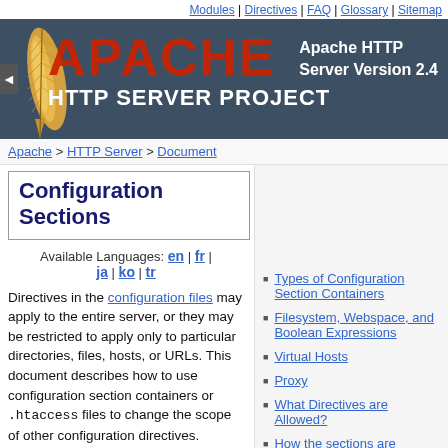Modules | Directives | FAQ | Glossary | Sitemap
[Figure (logo): Apache HTTP Server Project logo banner with feather graphic and red APACHE text on dark blue-grey background]
Apache > HTTP Server > Document
Configuration Sections
Available Languages: en | fr | ja | ko | tr
Directives in the configuration files may apply to the entire server, or they may be restricted to apply only to particular directories, files, hosts, or URLs. This document describes how to use configuration section containers or .htaccess files to change the scope of other configuration directives.
Types of Configuration Section Containers
Filesystem, Webspace, and Boolean Expressions
Virtual Hosts
Proxy
What Directives are Allowed?
How the sections are merged
See also
Comments